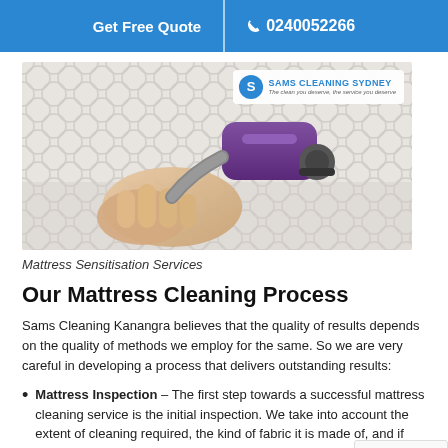Get Free Quote | 0240052266
[Figure (photo): Hand holding a purple vacuum/cleaning roller tool on a white quilted mattress surface, with Sams Cleaning Sydney logo overlay in top right corner]
Mattress Sensitisation Services
Our Mattress Cleaning Process
Sams Cleaning Kanangra believes that the quality of results depends on the quality of methods we employ for the same. So we are very careful in developing a process that delivers outstanding results:
Mattress Inspection – The first step towards a successful mattress cleaning service is the initial inspection. We take into account the extent of cleaning required, the kind of fabric it is made of, and if any repairs are required.
Mattress Cleaning – Depending upon the fabric of the mattress,